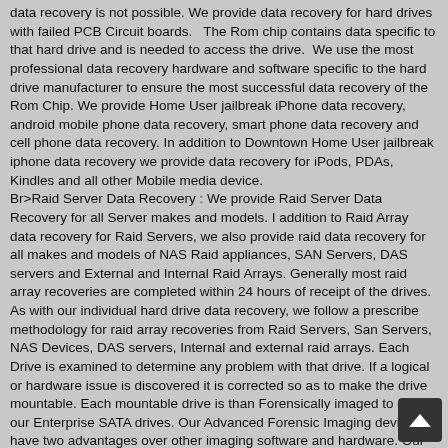data recovery is not possible. We provide data recovery for hard drives with failed PCB Circuit boards.   The Rom chip contains data specific to that hard drive and is needed to access the drive.  We use the most professional data recovery hardware and software specific to the hard drive manufacturer to ensure the most successful data recovery of the Rom Chip. We provide Home User jailbreak iPhone data recovery, android mobile phone data recovery, smart phone data recovery and cell phone data recovery. In addition to Downtown Home User jailbreak iphone data recovery we provide data recovery for iPods, PDAs, Kindles and all other Mobile media device.
Br>Raid Server Data Recovery : We provide Raid Server Data Recovery for all Server makes and models. I addition to Raid Array data recovery for Raid Servers, we also provide raid data recovery for all makes and models of NAS Raid appliances, SAN Servers, DAS servers and External and Internal Raid Arrays. Generally most raid array recoveries are completed within 24 hours of receipt of the drives. As with our individual hard drive data recovery, we follow a prescribe methodology for raid array recoveries from Raid Servers, San Servers, NAS Devices, DAS servers, Internal and external raid arrays. Each Drive is examined to determine any problem with that drive. If a logical or hardware issue is discovered it is corrected so as to make the drive mountable. Each mountable drive is than Forensically imaged to one of our Enterprise SATA drives. Our Advanced Forensic Imaging devices have two advantages over other imaging software and hardware. Our Imagers have the fastest data transfer rates available. Our Forensic hardware and software has the ability of reading multi bad sectors and recovering those sectors to the recovery drive.